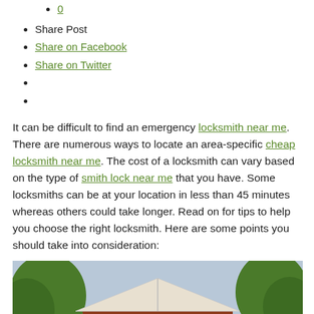0
Share Post
Share on Facebook
Share on Twitter
It can be difficult to find an emergency locksmith near me. There are numerous ways to locate an area-specific cheap locksmith near me. The cost of a locksmith can vary based on the type of smith lock near me that you have. Some locksmiths can be at your location in less than 45 minutes whereas others could take longer. Read on for tips to help you choose the right locksmith. Here are some points you should take into consideration:
[Figure (photo): Photo of a brick house with a triangular roof peak visible between two trees, taken from outside looking up.]